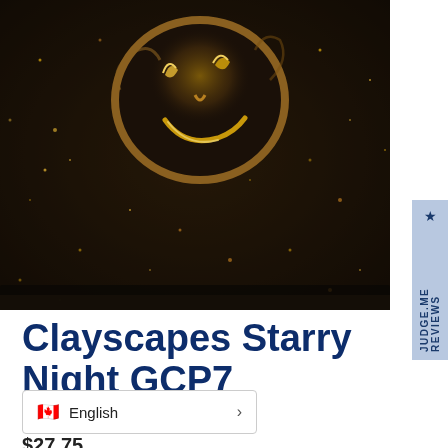[Figure (photo): Close-up macro photograph of a dark brown/black glazed ceramic surface with gold/bronze metallic swirling moon face design and sparkling gold speckles throughout, resembling a starry night texture]
Clayscapes Starry Night GCP7
English >
$27.75